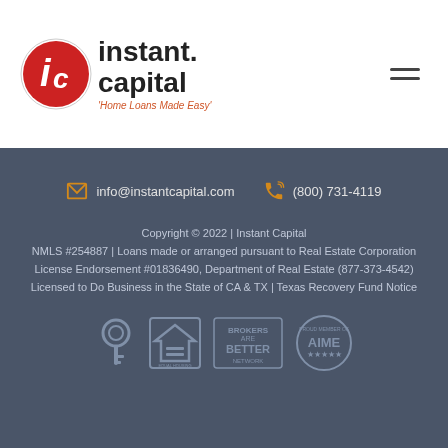[Figure (logo): Instant Capital logo with red circle IC icon and text 'instant capital' with tagline 'Home Loans Made Easy']
info@instantcapital.com
(800) 731-4119
Copyright © 2022 | Instant Capital
NMLS #254887 | Loans made or arranged pursuant to Real Estate Corporation License Endorsement #01836490, Department of Real Estate (877-373-4542)
Licensed to Do Business in the State of CA & TX |
Texas Recovery Fund Notice
[Figure (logo): Row of badges: key icon, Equal Housing Opportunity logo, Brokers Are Better Network logo, AIME proud member badge]